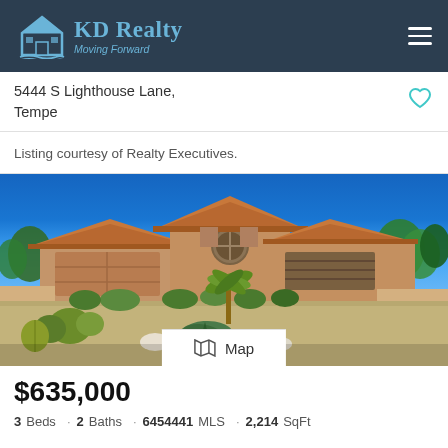KD Realty Moving Forward
5444 S Lighthouse Lane, Tempe
Listing courtesy of Realty Executives.
[Figure (photo): Exterior photo of a single-story stucco home with tile roof, two-car garage, desert landscaping with cacti and agave plants, and a bright blue sky.]
Map
$635,000
3 Beds · 2 Baths · 6454441 MLS · 2,214 SqFt